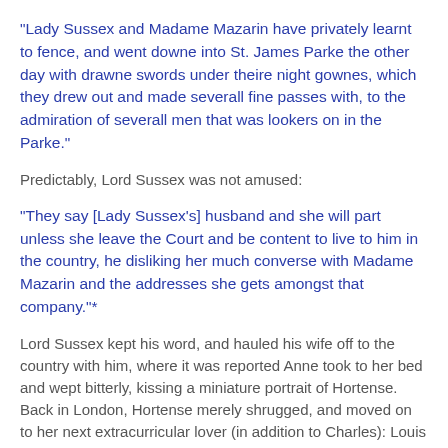"Lady Sussex and Madame Mazarin have privately learnt to fence, and went downe into St. James Parke the other day with drawne swords under theire night gownes, which they drew out and made severall fine passes with, to the admiration of severall men that was lookers on in the Parke."
Predictably, Lord Sussex was not amused:
"They say [Lady Sussex's] husband and she will part unless she leave the Court and be content to live to him in the country, he disliking her much converse with Madame Mazarin and the addresses she gets amongst that company."*
Lord Sussex kept his word, and hauled his wife off to the country with him, where it was reported Anne took to her bed and wept bitterly, kissing a miniature portrait of Hortense. Back in London, Hortense merely shrugged, and moved on to her next extracurricular lover (in addition to Charles): Louis I de Grimaldi, Prince de Monaco.
But Anne wasn't done enhancing her notoriety, either. Taken